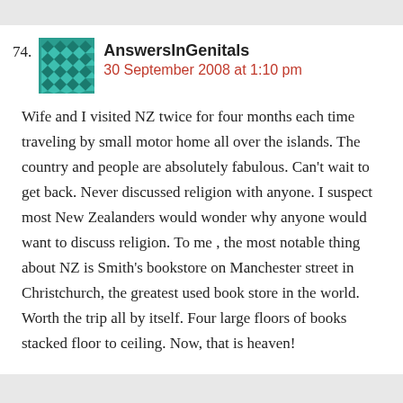74. AnswersInGenitals
30 September 2008 at 1:10 pm
Wife and I visited NZ twice for four months each time traveling by small motor home all over the islands. The country and people are absolutely fabulous. Can't wait to get back. Never discussed religion with anyone. I suspect most New Zealanders would wonder why anyone would want to discuss religion. To me , the most notable thing about NZ is Smith's bookstore on Manchester street in Christchurch, the greatest used book store in the world. Worth the trip all by itself. Four large floors of books stacked floor to ceiling. Now, that is heaven!